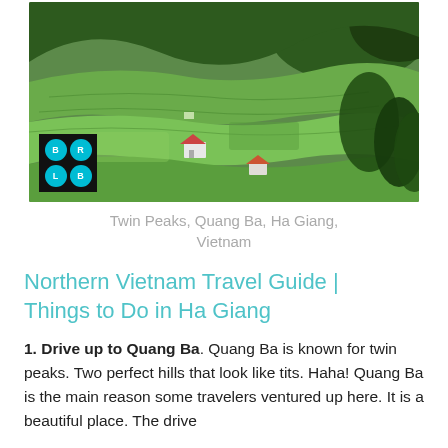[Figure (photo): Aerial view of terraced green rice fields and hills in Quang Ba, Ha Giang, Vietnam, with a small house visible. A black logo box with four cyan circles labeled B, R, L, B appears in the lower left corner.]
Twin Peaks, Quang Ba, Ha Giang, Vietnam
Northern Vietnam Travel Guide | Things to Do in Ha Giang
1. Drive up to Quang Ba. Quang Ba is known for twin peaks. Two perfect hills that look like tits. Haha! Quang Ba is the main reason some travelers ventured up here. It is a beautiful place. The drive